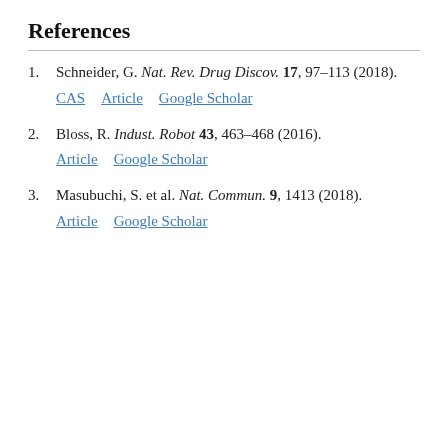References
1. Schneider, G. Nat. Rev. Drug Discov. 17, 97–113 (2018).
CAS  Article  Google Scholar
2. Bloss, R. Indust. Robot 43, 463–468 (2016).
Article  Google Scholar
3. Masubuchi, S. et al. Nat. Commun. 9, 1413 (2018).
Article  Google Scholar